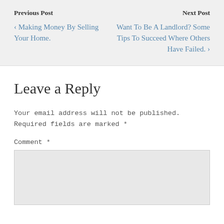Previous Post
Next Post
‹ Making Money By Selling Your Home.
Want To Be A Landlord? Some Tips To Succeed Where Others Have Failed. ›
Leave a Reply
Your email address will not be published. Required fields are marked *
Comment *